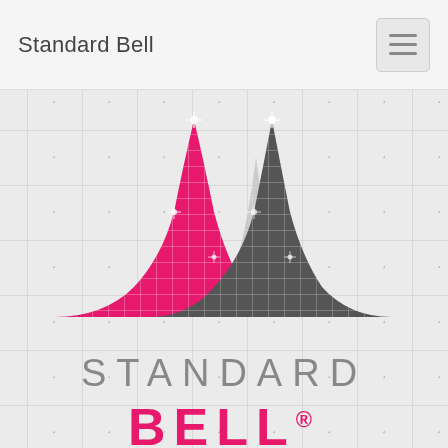Standard Bell
[Figure (logo): Standard Bell logo: two overlapping bell curves (one pink/magenta on the left, one dark gray on the right, with a lighter gray bell curve in the center/background), overlaid with a grid pattern, with glare/sparkle effects. Below the curves: the word STANDARD in light gray, and BELL in bold pink/magenta with a registered trademark symbol.]